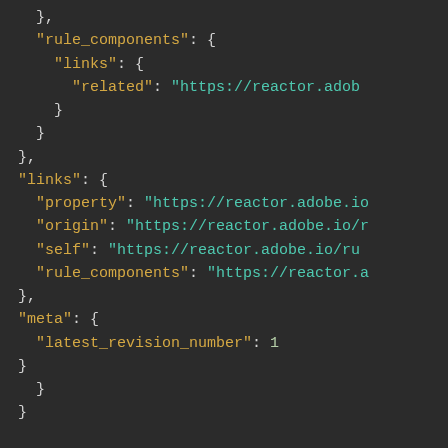JSON code snippet showing rule_components links, links object with property/origin/self/rule_components keys, and meta object with latest_revision_number: 1